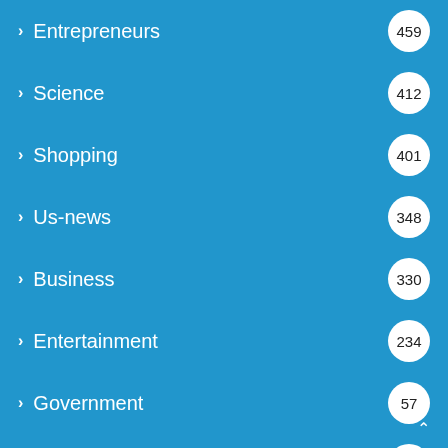Entrepreneurs 459
Science 412
Shopping 401
Us-news 348
Business 330
Entertainment 234
Government 57
News 12
Updates
June 28, 2022
Henley Regatta 2022: Dates, schedule, tickets and dress code
2 weeks ago
Council Post: Lead Generation: How To Create And Execute A Successful Strategy